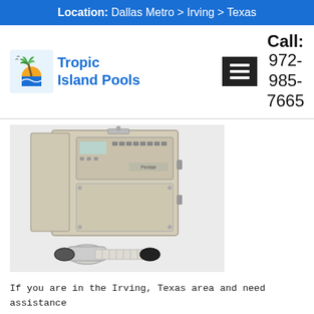Location: Dallas Metro > Irving > Texas
[Figure (logo): Tropic Island Pools logo with palm tree and sunset graphic]
Call: 972-985-7665
[Figure (photo): Pool saltwater system control panel and chlorinator cell unit]
If you are in the Irving, Texas area and need assistance setting up or maintaining a saltwater pool system, then